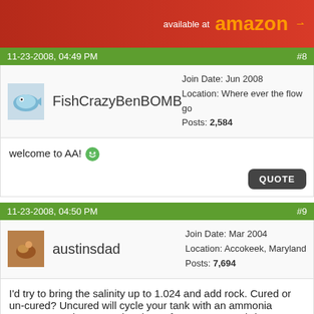[Figure (other): Amazon advertisement banner - red background with 'available at amazon' text and logo]
11-23-2008, 04:49 PM   #8
FishCrazyBenBOMB   Join Date: Jun 2008   Location: Where ever the flow go   Posts: 2,584
welcome to AA! 😄
QUOTE
11-23-2008, 04:50 PM   #9
austinsdad   Join Date: Mar 2004   Location: Accokeek, Maryland   Posts: 7,694
I'd try to bring the salinity up to 1.024 and add rock. Cured or un-cured? Uncured will cycle your tank with an ammonia source. Cured may need a piece of grocery store shrimp to get a cycle going. If cured from an established tank, you may have an instant cycle and not have to wait.
Tell me more about your LR source.